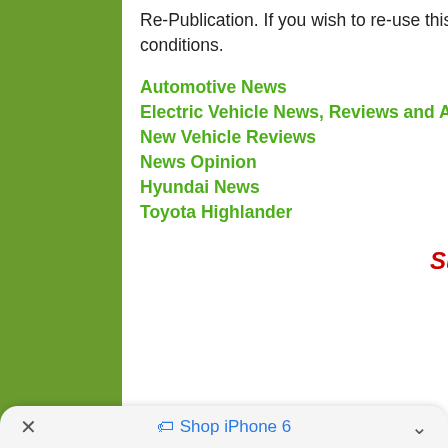Re-Publication. If you wish to re-use this content, please contact Torque News for terms and conditions.
Automotive News
Electric Vehicle News, Reviews and Analysis
New Vehicle Reviews
News Opinion
Hyundai News
Toyota Highlander
Subscribe to Torque News on YouTube.
× Shop iPhone 6 ^